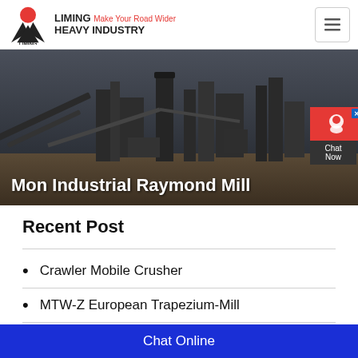LIMING Heavy Industry – Make Your Road Wider
[Figure (photo): Industrial mining/crushing plant machinery in outdoor setting, dark atmospheric background]
Mon Industrial Raymond Mill
Recent Post
Crawler Mobile Crusher
MTW-Z European Trapezium-Mill
K Series Mobile Crushing Plant
Chat Online